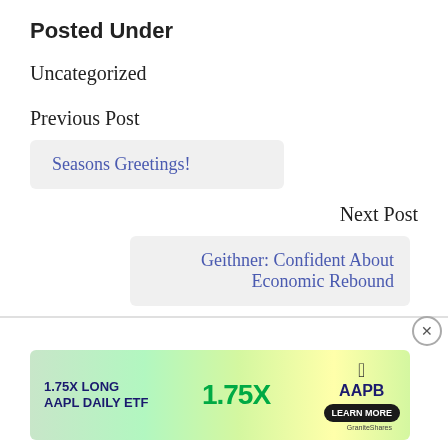Posted Under
Uncategorized
Previous Post
Seasons Greetings!
Next Post
Geithner: Confident About Economic Rebound
[Figure (infographic): Advertisement banner for GraniteShares 1.75X Long AAPL Daily ETF (AAPB) with Learn More button and close button]